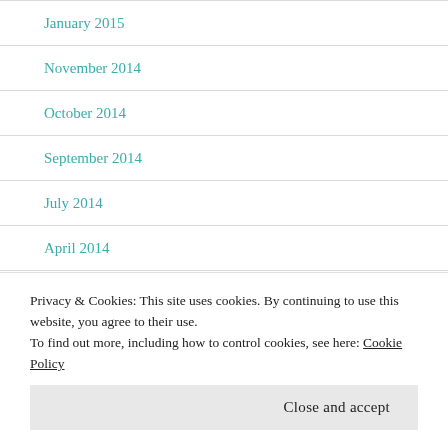January 2015
November 2014
October 2014
September 2014
July 2014
April 2014
March 2014
December 2013
Privacy & Cookies: This site uses cookies. By continuing to use this website, you agree to their use.
To find out more, including how to control cookies, see here: Cookie Policy
Close and accept